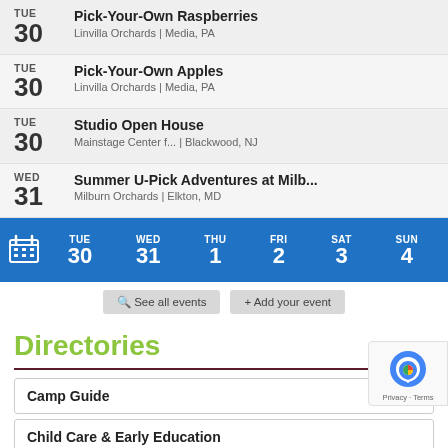TUE 30 Pick-Your-Own Raspberries | Linvilla Orchards | Media, PA
TUE 30 Pick-Your-Own Apples | Linvilla Orchards | Media, PA
TUE 30 Studio Open House | Mainstage Center f... | Blackwood, NJ
WED 31 Summer U-Pick Adventures at Milb... | Milburn Orchards | Elkton, MD
[Figure (other): Calendar navigation bar showing days TUE 30, WED 31, THU 1, FRI 2, SAT 3, SUN 4 on blue background with calendar icon]
See all events   + Add your event
Directories
Camp Guide
Child Care & Early Education